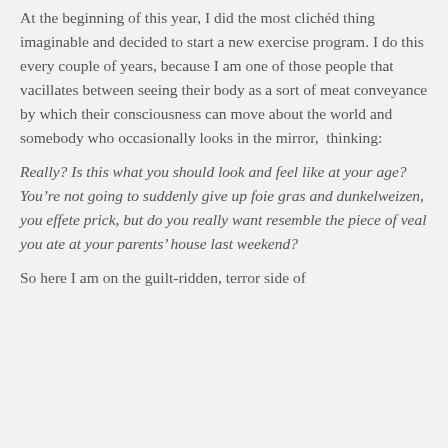At the beginning of this year, I did the most clichéd thing imaginable and decided to start a new exercise program. I do this every couple of years, because I am one of those people that vacillates between seeing their body as a sort of meat conveyance by which their consciousness can move about the world and somebody who occasionally looks in the mirror,  thinking:
Really? Is this what you should look and feel like at your age? You're not going to suddenly give up foie gras and dunkelweizen, you effete prick, but do you really want resemble the piece of veal you ate at your parents' house last weekend?
So here I am on the guilt-ridden, terror side of